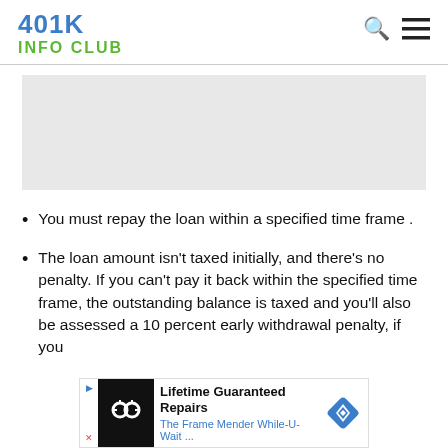401K INFO CLUB
You must repay the loan within a specified time frame .
The loan amount isn't taxed initially, and there's no penalty. If you can't pay it back within the specified time frame, the outstanding balance is taxed and you'll also be assessed a 10 percent early withdrawal penalty, if you
[Figure (other): Advertisement banner: Lifetime Guaranteed Repairs - The Frame Mender While-U-Wait...]